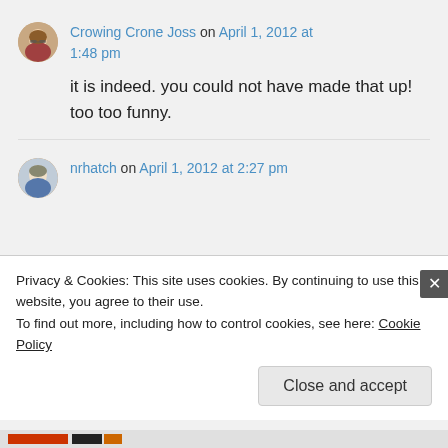Crowing Crone Joss on April 1, 2012 at 1:48 pm
it is indeed. you could not have made that up! too too funny.
nrhatch on April 1, 2012 at 2:27 pm
Privacy & Cookies: This site uses cookies. By continuing to use this website, you agree to their use.
To find out more, including how to control cookies, see here: Cookie Policy